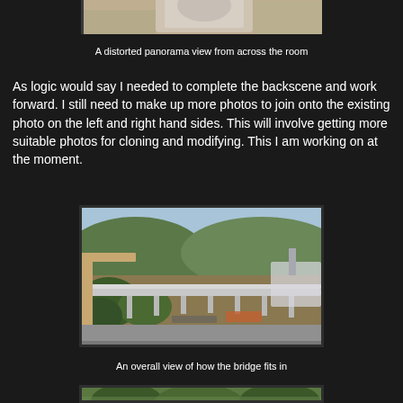[Figure (photo): A distorted panorama view of a model railway room layout, showing the scene from across the room, visible at the top of the page (partially cropped).]
A distorted panorama view from across the room
As logic would say I needed to complete the backscene and work forward. I still need to make up more photos to join onto the existing photo on the left and right hand sides. This will involve getting more suitable photos for cloning and modifying. This I am working on at the moment.
[Figure (photo): An overall view showing how a model bridge fits into the layout scene, with vegetation, hills and structures visible around a long bridge structure.]
An overall view of how the bridge fits in
[Figure (photo): Another photo visible at the bottom of the page, partially cropped, showing trees or vegetation in an outdoor or model scene.]